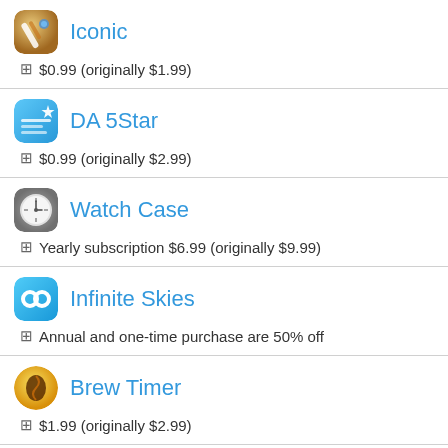Iconic — $0.99 (originally $1.99)
DA 5Star — $0.99 (originally $2.99)
Watch Case — Yearly subscription $6.99 (originally $9.99)
Infinite Skies — Annual and one-time purchase are 50% off
Brew Timer — $1.99 (originally $2.99)